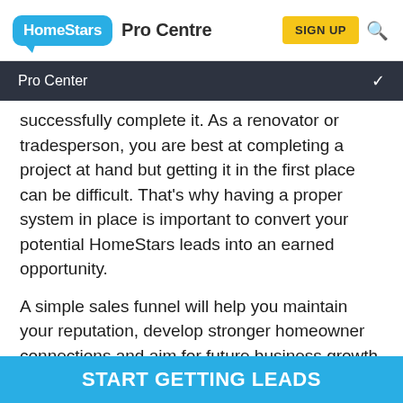HomeStars Pro Centre | SIGN UP
Pro Center
successfully complete it. As a renovator or tradesperson, you are best at completing a project at hand but getting it in the first place can be difficult. That's why having a proper system in place is important to convert your potential HomeStars leads into an earned opportunity.
A simple sales funnel will help you maintain your reputation, develop stronger homeowner connections and aim for future business growth. As you get closer to closing a potential lead, the funnel gets smaller and smaller.
START GETTING LEADS